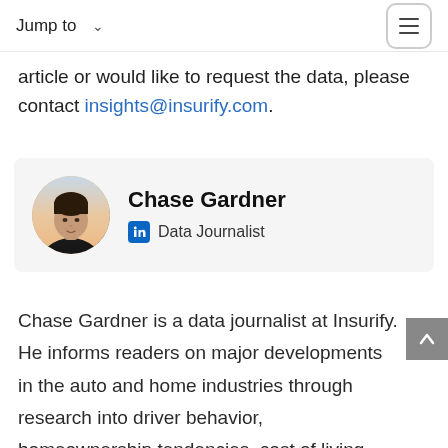Jump to
article or would like to request the data, please contact insights@insurify.com.
Chase Gardner
Data Journalist
Chase Gardner is a data journalist at Insurify. He informs readers on major developments in the auto and home industries through research into driver behavior, homeownership tendencies, cost of living trends, and more. He received a bachelor's degree with concentrations in
[Figure (photo): Circular profile photo of Chase Gardner, a young man with dark hair wearing a dark jacket, with a light sky background.]